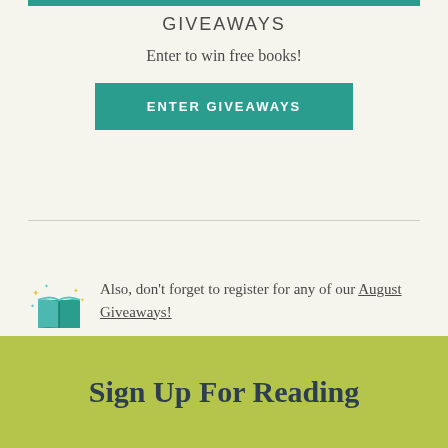[Figure (other): Teal horizontal banner/bar at top of page]
GIVEAWAYS
Enter to win free books!
[Figure (other): Teal button labeled ENTER GIVEAWAYS]
[Figure (illustration): Open book emoji icon with sparkle stars in teal/gold]
Also, don't forget to register for any of our August Giveaways!
Sign Up For Reading